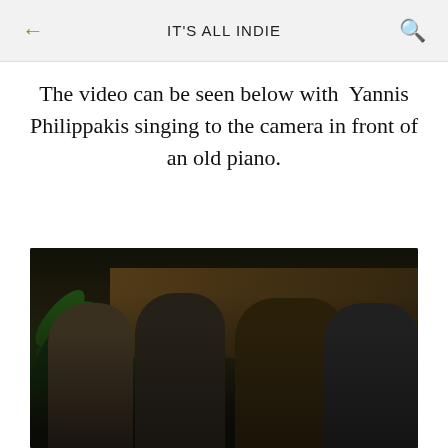IT'S ALL INDIE
The video can be seen below with  Yannis Philippakis singing to the camera in front of an old piano.
[Figure (photo): Four men posed together in a dark, moody setting with large plant leaves visible on the left side. The subjects appear to be members of a band. One wears a leopard print shirt, others wear dark jackets and a turtleneck.]